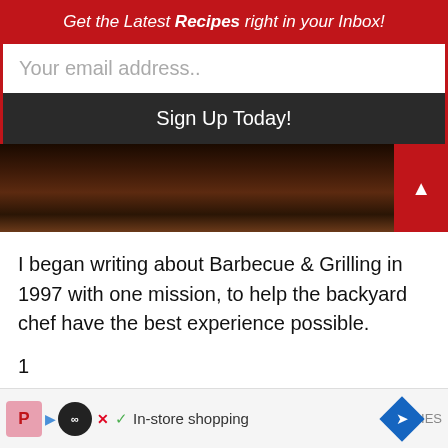Get the Latest Recipes right in your Inbox!
Your email address..
Sign Up Today!
[Figure (photo): Close-up photo of a barbecue grill from below, showing the underside of the lid or food on the grill, dark and rustic tones]
I began writing about Barbecue & Grilling in 1997 with one mission, to help the backyard chef have the best experience possible.
In-store shopping
IES